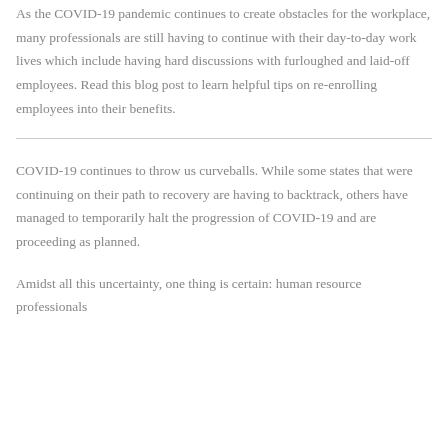As the COVID-19 pandemic continues to create obstacles for the workplace, many professionals are still having to continue with their day-to-day work lives which include having hard discussions with furloughed and laid-off employees. Read this blog post to learn helpful tips on re-enrolling employees into their benefits.
COVID-19 continues to throw us curveballs. While some states that were continuing on their path to recovery are having to backtrack, others have managed to temporarily halt the progression of COVID-19 and are proceeding as planned.
Amidst all this uncertainty, one thing is certain: human resource professionals